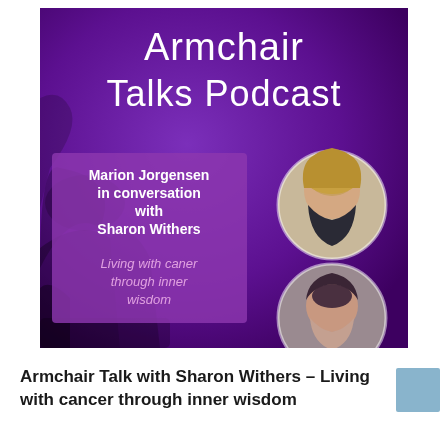[Figure (illustration): Armchair Talks Podcast cover art showing a purple background with an armchair, the podcast title 'Armchair Talks Podcast', a purple info box with text 'Marion Jorgensen in conversation with Sharon Withers' and 'Living with caner through inner wisdom', and two circular portrait photos of women.]
Armchair Talk with Sharon Withers – Living with cancer through inner wisdom